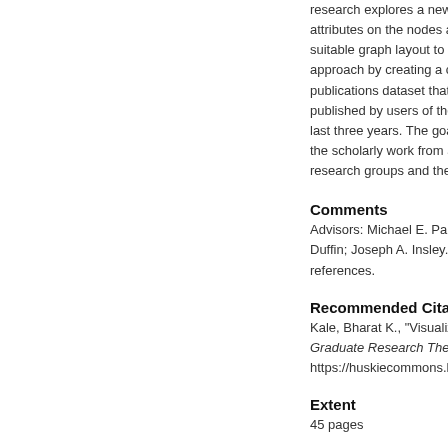research explores a new way to visualize networks, using a glyph designed to encode attributes on the nodes and edges, and a suitable graph layout to display them. We test this approach by creating a co-authorship from a publications dataset that contains publications published by users of the library during the last three years. The goal is to understand the scholarly work from at institution, identify research groups and the
Comments
Advisors: Michael E. Papk... Duffin; Joseph A. Insley.|||Includes references.
Recommended Citation
Kale, Bharat K., "Visualization o... Graduate Research Theses & D... https://huskiecommons.lib.niu...
Extent
45 pages
Language
eng